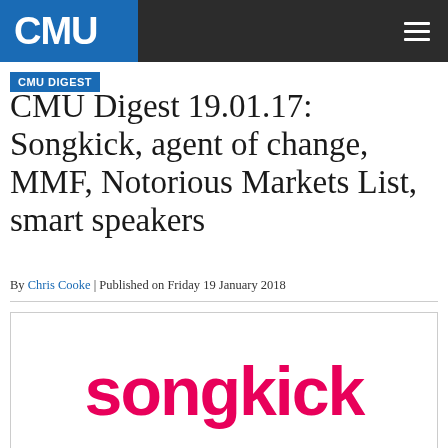CMU
CMU DIGEST
CMU Digest 19.01.17: Songkick, agent of change, MMF, Notorious Markets List, smart speakers
By Chris Cooke | Published on Friday 19 January 2018
[Figure (logo): Songkick logo in bold red/pink lettering on white background]